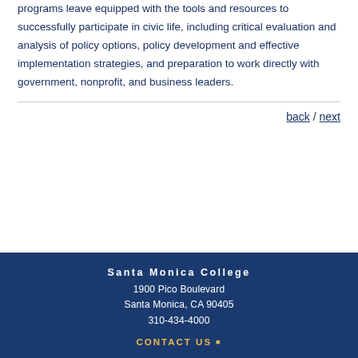Graduates of both the certificate and associate degree programs leave equipped with the tools and resources to successfully participate in civic life, including critical evaluation and analysis of policy options, policy development and effective implementation strategies, and preparation to work directly with government, nonprofit, and business leaders.
back / next
Santa Monica College
1900 Pico Boulevard
Santa Monica, CA 90405
310-434-4000
CONTACT US